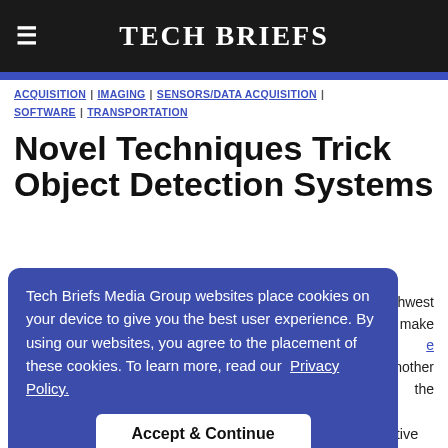TECH BRIEFS
ACQUISITION | IMAGING | SENSORS/DATA ACQUISITION | SOFTWARE | TRANSPORTATION
Novel Techniques Trick Object Detection Systems
Tech Briefs Media Group websites place cookies on your device to give you the best user experience. By using our websites, you agree to the placement of these cookies. To learn more, read our Privacy Policy.
Accept & Continue
researchers, deep-learning neural networks are highly effective at